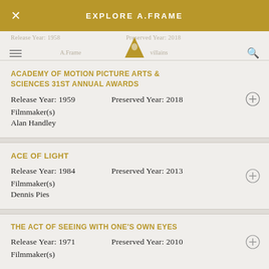EXPLORE A.FRAME
ACADEMY OF MOTION PICTURE ARTS & SCIENCES 31ST ANNUAL AWARDS
Release Year: 1959    Preserved Year: 2018
Filmmaker(s)
Alan Handley
ACE OF LIGHT
Release Year: 1984    Preserved Year: 2013
Filmmaker(s)
Dennis Pies
THE ACT OF SEEING WITH ONE'S OWN EYES
Release Year: 1971    Preserved Year: 2010
Filmmaker(s)